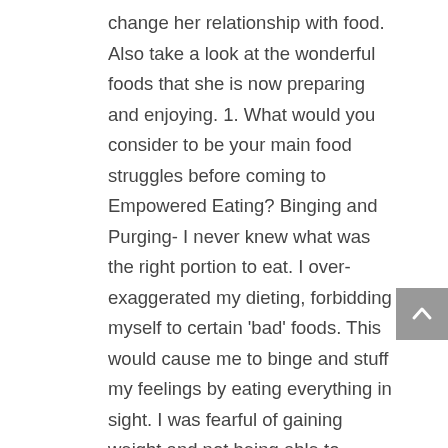change her relationship with food. Also take a look at the wonderful foods that she is now preparing and enjoying. 1. What would you consider to be your main food struggles before coming to Empowered Eating? Binging and Purging- I never knew what was the right portion to eat. I over-exaggerated my dieting, forbidding myself to certain 'bad' foods. This would cause me to binge and stuff my feelings by eating everything in sight. I was fearful of gaining weight and not being able to maintain my slim figure, so I would purge to control my weight. 2. What strategies have helped you the most that you learned and worked on in your sessions with your dietitian? Mindful eating- listening to my body. Eating when I'm hungry, and allowing myself to eat what my body is asking for. Also taking care of ME. Its fun to take care of